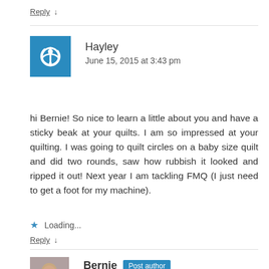Reply ↓
Hayley
June 15, 2015 at 3:43 pm
hi Bernie! So nice to learn a little about you and have a sticky beak at your quilts. I am so impressed at your quilting. I was going to quilt circles on a baby size quilt and did two rounds, saw how rubbish it looked and ripped it out! Next year I am tackling FMQ (I just need to get a foot for my machine).
★ Loading...
Reply ↓
Bernie  Post author
June 16, 2015 at 8:39 am